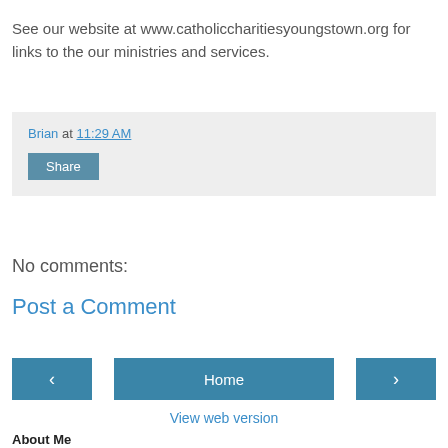See our website at www.catholiccharitiesyoungstown.org for links to the our ministries and services.
Brian at 11:29 AM
Share
No comments:
Post a Comment
‹  Home  ›
View web version
About Me
Brian